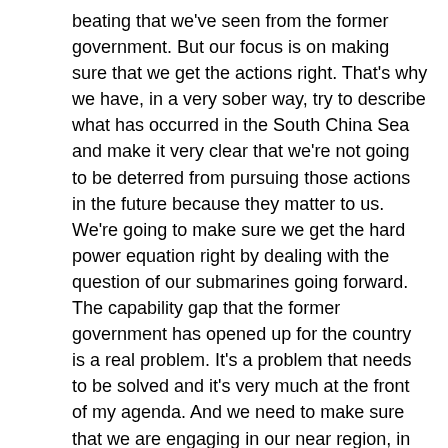beating that we've seen from the former government. But our focus is on making sure that we get the actions right. That's why we have, in a very sober way, try to describe what has occurred in the South China Sea and make it very clear that we're not going to be deterred from pursuing those actions in the future because they matter to us. We're going to make sure we get the hard power equation right by dealing with the question of our submarines going forward. The capability gap that the former government has opened up for the country is a real problem. It's a problem that needs to be solved and it's very much at the front of my agenda. And we need to make sure that we are engaging in our near region, in the Pacific in a way which earns the right or earns the trust, I should say, of the countries of the Pacific such that we are their natural partner of choice. These are the things that we are going to focus on which are based on our action. We are not going to engage in the chest-beating. We are going to be about the doing.
KIERAN GILBERT:
The Prime Minister is in Indonesia today, hence you're acting Prime Minister. Do you see Indonesia, the vast archipelago